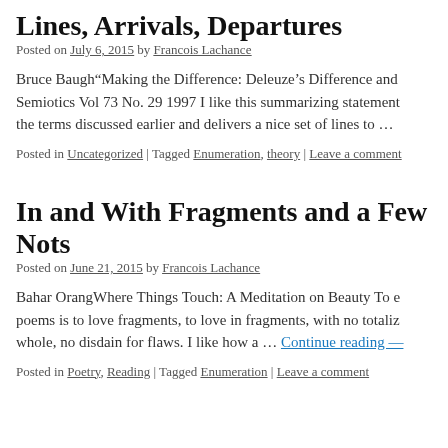Lines, Arrivals, Departures
Posted on July 6, 2015 by Francois Lachance
Bruce Baugh“Making the Difference: Deleuze’s Difference and Semiotics Vol 73 No. 29 1997 I like this summarizing statement the terms discussed earlier and delivers a nice set of lines to …
Posted in Uncategorized | Tagged Enumeration, theory | Leave a comment
In and With Fragments and a Few Nots
Posted on June 21, 2015 by Francois Lachance
Bahar OrangWhere Things Touch: A Meditation on Beauty To e poems is to love fragments, to love in fragments, with no totaliz whole, no disdain for flaws. I like how a … Continue reading —
Posted in Poetry, Reading | Tagged Enumeration | Leave a comment